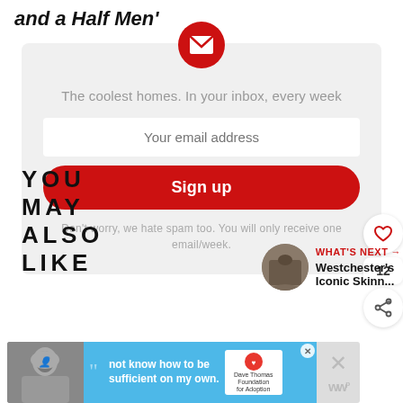and a Half Men'
[Figure (infographic): Email newsletter signup box with envelope icon, tagline 'The coolest homes. In your inbox, every week', email input field, Sign up button, and spam disclaimer. Floating social buttons (heart, share count 12, share icon) on the right side.]
WHAT'S NEXT → Westchester's Iconic Skinn...
YOU MAY ALSO LIKE
[Figure (photo): Advertisement banner with Dave Thomas Foundation for Adoption. Black and white photo of person on left, quote text 'not know how to be sufficient on my own.' on blue background, logo on right.]